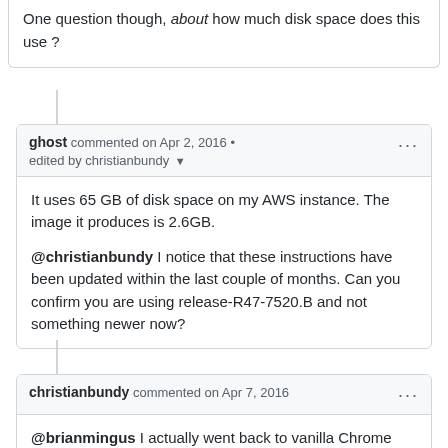One question though, about how much disk space does this use ?
ghost commented on Apr 2, 2016 • edited by christianbundy
It uses 65 GB of disk space on my AWS instance. The image it produces is 2.6GB.

@christianbundy I notice that these instructions have been updated within the last couple of months. Can you confirm you are using release-R47-7520.B and not something newer now?
christianbundy commented on Apr 7, 2016
@brianmingus I actually went back to vanilla Chrome OS after a few weeks, I believe my revisions were just to fix